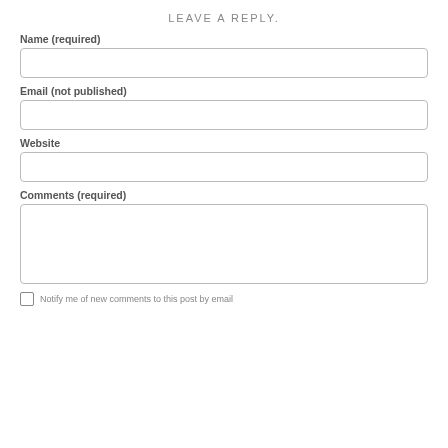LEAVE A REPLY.
Name (required)
Email (not published)
Website
Comments (required)
Notify me of new comments to this post by email